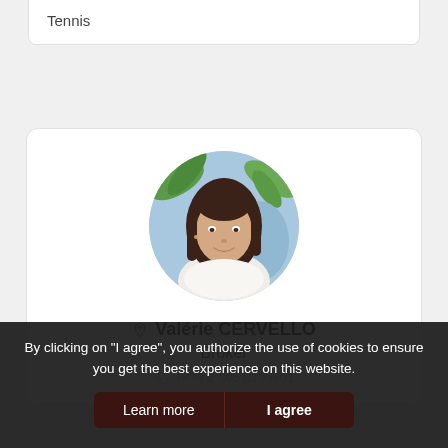Tennis
[Figure (photo): Circular profile photo of Valérie CERVELLO, a woman with dark hair, wearing a white sleeveless top, with a tropical background of green leaves and blue sky.]
Valérie CERVELLO
Broker
+830 2 305 0193801
Contact time
By clicking on "I agree", you authorize the use of cookies to ensure you get the best experience on this website.
Learn more
I agree